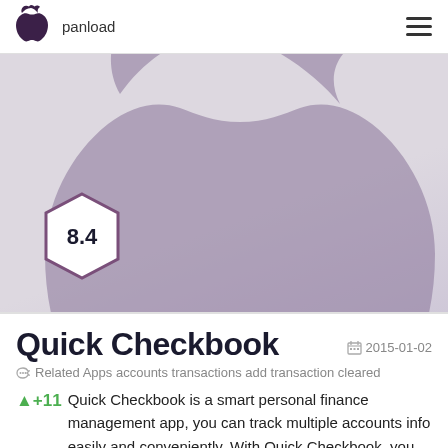panload
[Figure (illustration): Large Apple logo silhouette in muted purple/gray tones on light background, cropped. A hexagonal badge showing score 8.4 overlaid at bottom-left.]
Quick Checkbook
2015-01-02
Related Apps accounts transactions add transaction cleared
+11  Quick Checkbook is a smart personal finance management app, you can track multiple accounts info easily and conveniently. With Quick Checkbook, you